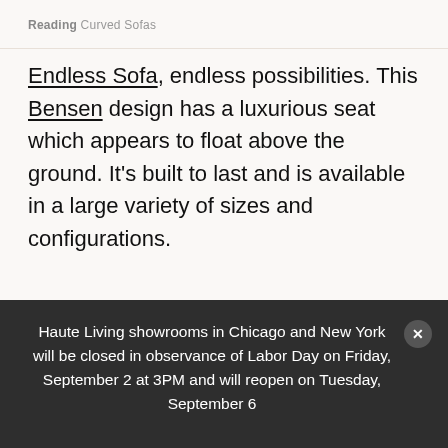Reading Curved Sofas
Endless Sofa, endless possibilities. This Bensen design has a luxurious seat which appears to float above the ground. It's built to last and is available in a large variety of sizes and configurations.
[Figure (photo): Partial photo showing dark rectangular panels and greenery in background]
Haute Living showrooms in Chicago and New York will be closed in observance of Labor Day on Friday, September 2 at 3PM and will reopen on Tuesday, September 6